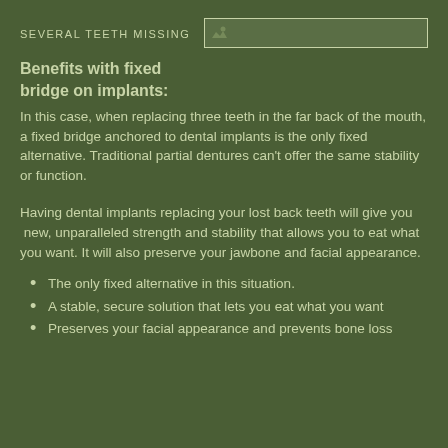SEVERAL TEETH MISSING
[Figure (photo): Image placeholder showing a dental photo related to several teeth missing scenario]
Benefits with fixed bridge on implants:
In this case, when replacing three teeth in the far back of the mouth, a fixed bridge anchored to dental implants is the only fixed alternative. Traditional partial dentures can't offer the same stability or function.
Having dental implants replacing your lost back teeth will give you  new, unparalleled strength and stability that allows you to eat what you want. It will also preserve your jawbone and facial appearance.
The only fixed alternative in this situation.
A stable, secure solution that lets you eat what you want
Preserves your facial appearance and prevents bone loss